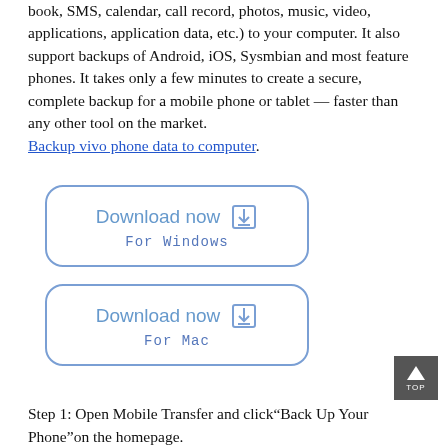book, SMS, calendar, call record, photos, music, video, applications, application data, etc.) to your computer. It also support backups of Android, iOS, Sysmbian and most feature phones. It takes only a few minutes to create a secure, complete backup for a mobile phone or tablet — faster than any other tool on the market. Backup vivo phone data to computer.
[Figure (other): Download now For Windows button — rounded rectangle with blue border, blue text 'Download now' with download icon, and 'For Windows' label below]
[Figure (other): Download now For Mac button — rounded rectangle with blue border, blue text 'Download now' with download icon, and 'For Mac' label below]
[Figure (other): TOP navigation button — dark grey square with upward triangle arrow and 'TOP' text]
Step 1: Open Mobile Transfer and click"Back Up Your Phone"on the homepage.